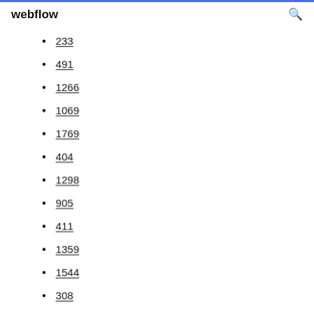webflow
233
491
1266
1069
1769
404
1298
905
411
1359
1544
308
848